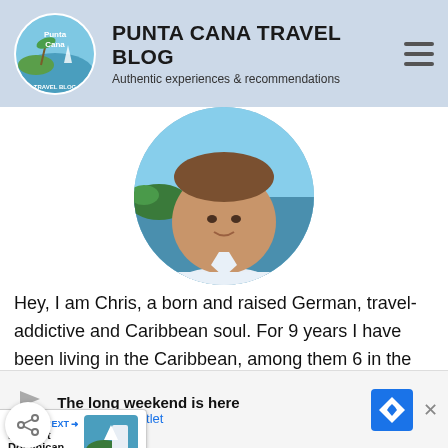PUNTA CANA TRAVEL BLOG
Authentic experiences & recommendations
[Figure (photo): Circular profile photo of Chris, a man in a white shirt, with a Caribbean marina and boats in the background]
Hey, I am Chris, a born and raised German, travel-addictive and Caribbean soul. For 9 years I have been living in the Caribbean, among them 6 in the Dominican Republic. Punta Cana is my home-base here in the country and I'd love to tell you more about how to experience Punta Cana off-the-beaten-path and give you all the advice you want to know for your vacation in Punta Cana.
[Figure (infographic): Share icon (social sharing button) floating on left side]
[Figure (infographic): WHAT'S NEXT widget showing E-Ticket Dominican... with thumbnail image]
[Figure (screenshot): Advertisement banner for Kate Spade Outlet - The long weekend is here]